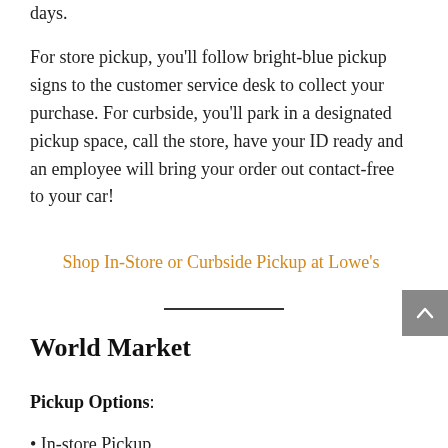days.
For store pickup, you'll follow bright-blue pickup signs to the customer service desk to collect your purchase. For curbside, you'll park in a designated pickup space, call the store, have your ID ready and an employee will bring your order out contact-free to your car!
Shop In-Store or Curbside Pickup at Lowe's
World Market
Pickup Options:
• In-store Pickup